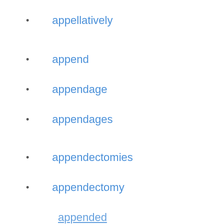appellatively
append
appendage
appendages
appendectomies
appendectomy
appended